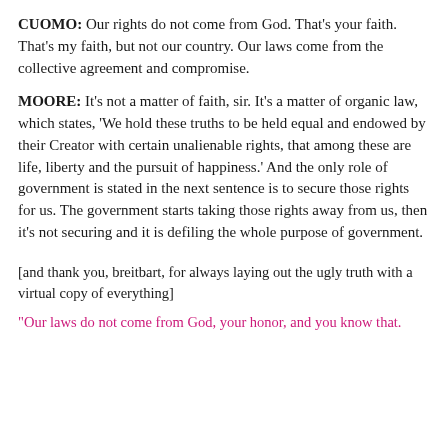CUOMO: Our rights do not come from God. That’s your faith. That’s my faith, but not our country. Our laws come from the collective agreement and compromise.
MOORE: It’s not a matter of faith, sir. It’s a matter of organic law, which states, ‘We hold these truths to be held equal and endowed by their Creator with certain unalienable rights, that among these are life, liberty and the pursuit of happiness.’ And the only role of government is stated in the next sentence is to secure those rights for us. The government starts taking those rights away from us, then it’s not securing and it is defiling the whole purpose of government.
[and thank you, breitbart, for always laying out the ugly truth with a virtual copy of everything]
“Our laws do not come from God, your honor, and you know that.